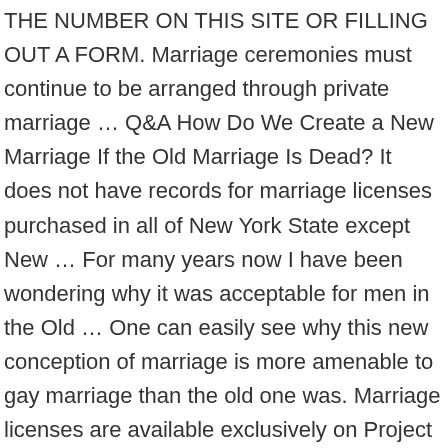THE NUMBER ON THIS SITE OR FILLING OUT A FORM. Marriage ceremonies must continue to be arranged through private marriage … Q&A How Do We Create a New Marriage If the Old Marriage Is Dead? It does not have records for marriage licenses purchased in all of New York State except New … For many years now I have been wondering why it was acceptable for men in the Old … One can easily see why this new conception of marriage is more amenable to gay marriage than the old one was. Marriage licenses are available exclusively on Project Cupid. That said, divorce is no different from any other sin. God's Plan For Marriage: Dealing With Old Testament Polygamy, by Gregory Alan Thornbury - Christian Marriage advice and help. Lust When its just the same mushy old shit. The emotional story for long-tern marriages is really